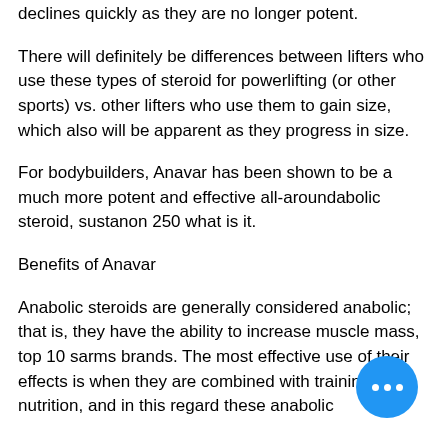declines quickly as they are no longer potent.
There will definitely be differences between lifters who use these types of steroid for powerlifting (or other sports) vs. other lifters who use them to gain size, which also will be apparent as they progress in size.
For bodybuilders, Anavar has been shown to be a much more potent and effective all-aroundabolic steroid, sustanon 250 what is it.
Benefits of Anavar
Anabolic steroids are generally considered anabolic; that is, they have the ability to increase muscle mass, top 10 sarms brands. The most effective use of their effects is when they are combined with training or nutrition, and in this regard these anabolic